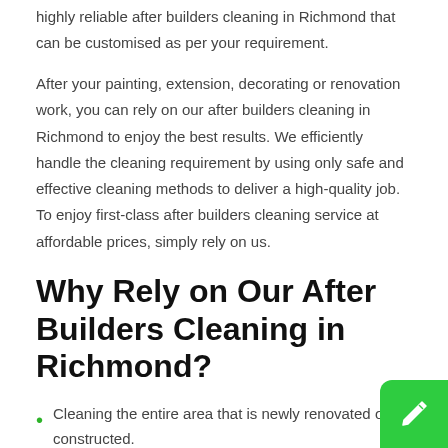highly reliable after builders cleaning in Richmond that can be customised as per your requirement.
After your painting, extension, decorating or renovation work, you can rely on our after builders cleaning in Richmond to enjoy the best results. We efficiently handle the cleaning requirement by using only safe and effective cleaning methods to deliver a high-quality job. To enjoy first-class after builders cleaning service at affordable prices, simply rely on us.
Why Rely on Our After Builders Cleaning in Richmond?
Cleaning the entire area that is newly renovated or constructed.